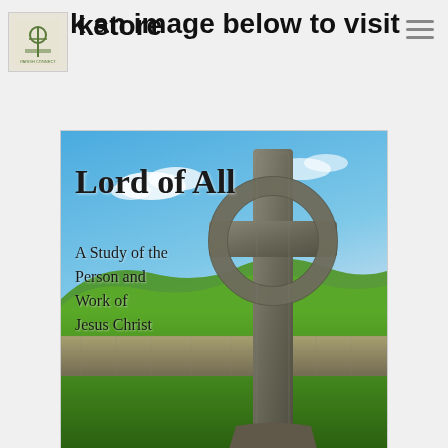Click an image below to visit the bookstore
[Figure (illustration): Book cover for 'Lord of All: A Study of the Person and Work of Jesus Christ' showing a large ornate Celtic stone cross in the foreground with a green Irish landscape, stone wall, and blue sky with clouds in the background. The book title and subtitle are overlaid on the left side of the cover.]